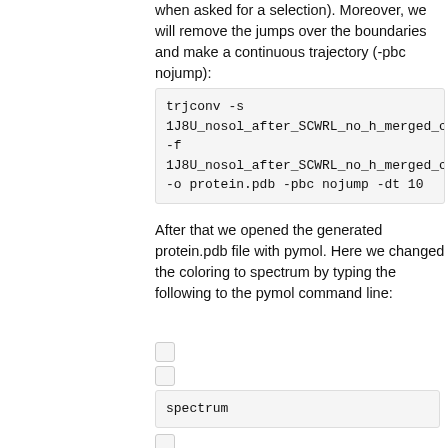when asked for a selection). Moreover, we will remove the jumps over the boundaries and make a continuous trajectory (-pbc nojump):
After that we opened the generated protein.pdb file with pymol. Here we changed the coloring to spectrum by typing the following to the pymol command line:
In a next step we enabled the the visualization